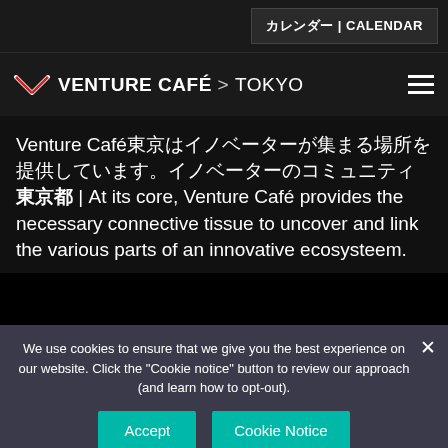カレンダー | CALENDAR
VENTURE CAFÉ > TOKYO
Venture Caféはイノベーターが集まる場所を提供しています。イノベーターのコミュニティ | At its core, Venture Café provides the necessary connective tissue to uncover and link the various parts of an innovative ecosysteem.
We use cookies to ensure that we give you the best experience on our website. Click the "Cookie notice" button to review our approach (and learn how to opt-out).